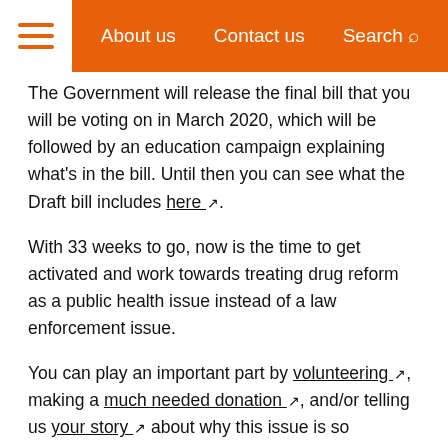About us  Contact us  Search
The Government will release the final bill that you will be voting on in March 2020, which will be followed by an education campaign explaining what’s in the bill. Until then you can see what the Draft bill includes here.
With 33 weeks to go, now is the time to get activated and work towards treating drug reform as a public health issue instead of a law enforcement issue.
You can play an important part by volunteering, making a much needed donation, and/or telling us your story about why this issue is so important to you.
Tags:
Cannabis referendum
Drug law reform
Legalisation
Enforcement
News